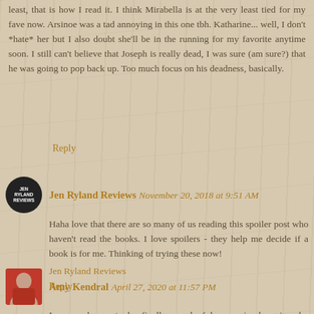least, that is how I read it. I think Mirabella is at the very least tied for my fave now. Arsinoe was a tad annoying in this one tbh. Katharine... well, I don't *hate* her but I also doubt she'll be in the running for my favorite anytime soon. I still can't believe that Joseph is really dead, I was sure (am sure?) that he was going to pop back up. Too much focus on his deadness, basically.
Reply
Jen Ryland Reviews   November 20, 2018 at 9:51 AM
Haha love that there are so many of us reading this spoiler post who haven't read the books. I love spoilers - they help me decide if a book is for me. Thinking of trying these now! Jen Ryland Reviews
Reply
Amy Kendral   April 27, 2020 at 11:57 PM
I am so happy to be finally cured of herpes simplex virus by herbalist Razor Ever, since i was diagnosed with the